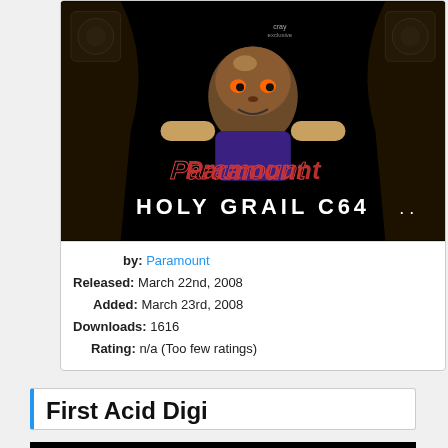[Figure (screenshot): Black background game/demo image with 'Paramount' logo text and 'HOLY GRAIL C64' text, featuring a stylized alien/creature character]
by: Paramount
Released: March 22nd, 2008
Added: March 23rd, 2008
Downloads: 1616
Rating: n/a (Too few ratings)
First Acid Digi
[Figure (screenshot): Black background with white pixel text: 'scratcher of paramount proudly presents: my first digi called first acid remix!']